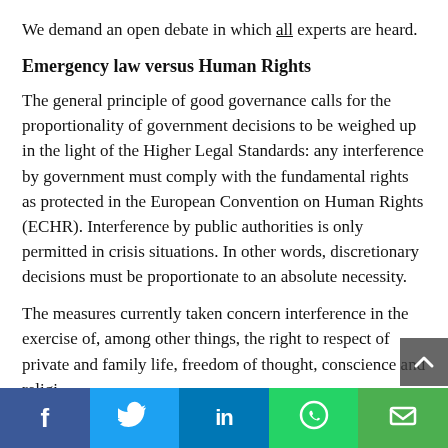We demand an open debate in which all experts are heard.
Emergency law versus Human Rights
The general principle of good governance calls for the proportionality of government decisions to be weighed up in the light of the Higher Legal Standards: any interference by government must comply with the fundamental rights as protected in the European Convention on Human Rights (ECHR). Interference by public authorities is only permitted in crisis situations. In other words, discretionary decisions must be proportionate to an absolute necessity.
The measures currently taken concern interference in the exercise of, among other things, the right to respect of private and family life, freedom of thought, conscience and religi…